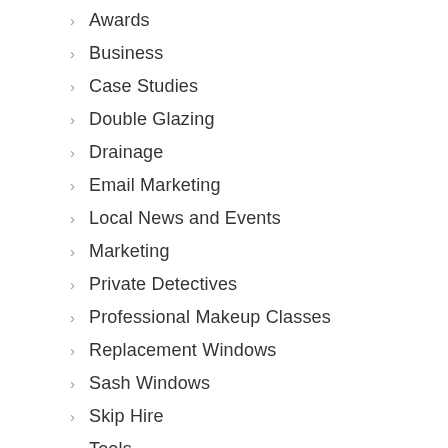Awards
Business
Case Studies
Double Glazing
Drainage
Email Marketing
Local News and Events
Marketing
Private Detectives
Professional Makeup Classes
Replacement Windows
Sash Windows
Skip Hire
Tools